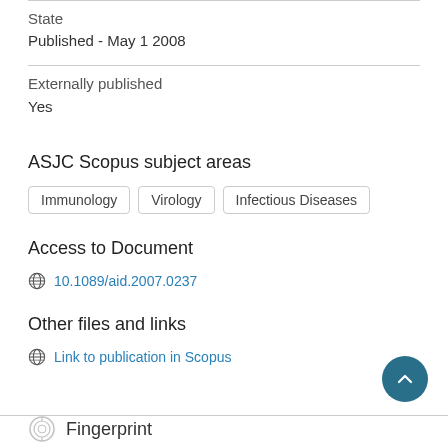State
Published - May 1 2008
Externally published
Yes
ASJC Scopus subject areas
Immunology
Virology
Infectious Diseases
Access to Document
10.1089/aid.2007.0237
Other files and links
Link to publication in Scopus
Fingerprint